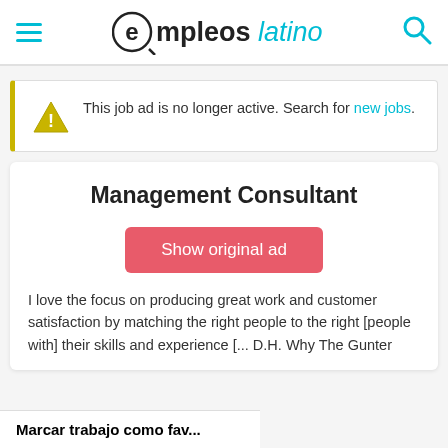empleos latino
This job ad is no longer active. Search for new jobs.
Management Consultant
Show original ad
I love the focus on producing great work and customer satisfaction by matching the right people to the right [people with] their skills and experience [... D.H. Why The Gunter
Marcar trabajo como fav...